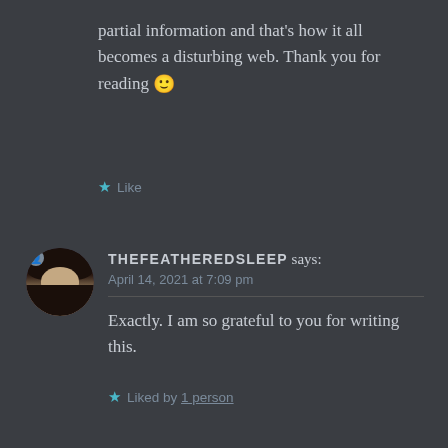partial information and that’s how it all becomes a disturbing web. Thank you for reading 🙂
★ Like
THEFEATHEREDSLEEP says:
April 14, 2021 at 7:09 pm
Exactly. I am so grateful to you for writing this.
★ Liked by 1 person